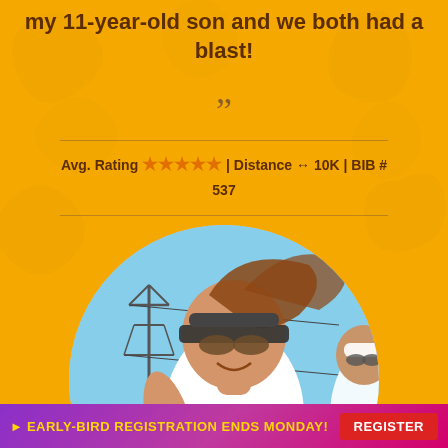my 11-year-old son and we both had a blast!
”
Avg. Rating ★★★★★ | Distance ↔ 10K | BIB # 537
[Figure (photo): A woman runner wearing a visor and sunglasses smiling during a race, with power lines and blue sky in the background. Another runner is visible behind her.]
►EARLY-BIRD REGISTRATION ENDS MONDAY! REGISTER